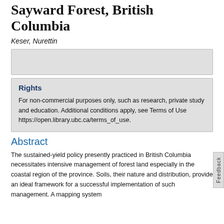Sayward Forest, British Columbia
Keser, Nurettin
Rights
For non-commercial purposes only, such as research, private study and education. Additional conditions apply, see Terms of Use https://open.library.ubc.ca/terms_of_use.
Abstract
The sustained-yield policy presently practiced in British Columbia necessitates intensive management of forest land especially in the coastal region of the province. Soils, their nature and distribution, provide an ideal framework for a successful implementation of such management. A mapping system